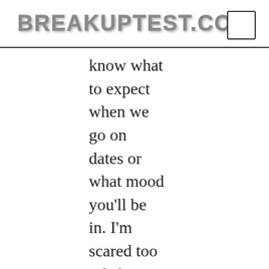BREAKUPTEST.COM
know what to expect when we go on dates or what mood you'll be in. I'm scared too ask for time apart when we do have it you open lines of